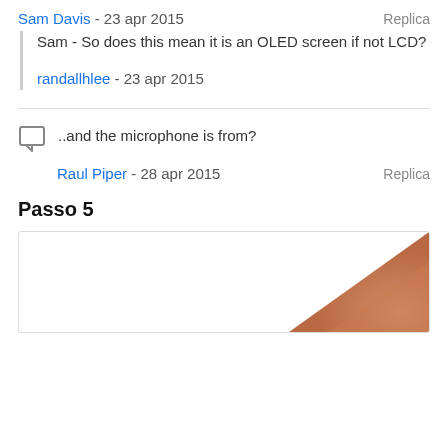Sam Davis - 23 apr 2015   Replica
Sam - So does this mean it is an OLED screen if not LCD?
randallhlee - 23 apr 2015
..and the microphone is from?
Raul Piper - 28 apr 2015   Replica
Passo 5
[Figure (photo): A finger/hand visible in the bottom-right corner of a white photo block]